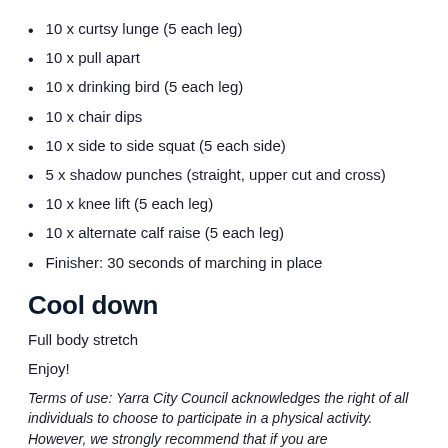10 x curtsy lunge (5 each leg)
10 x pull apart
10 x drinking bird (5 each leg)
10 x chair dips
10 x side to side squat (5 each side)
5 x shadow punches (straight, upper cut and cross)
10 x knee lift (5 each leg)
10 x alternate calf raise (5 each leg)
Finisher: 30 seconds of marching in place
Cool down
Full body stretch
Enjoy!
Terms of use: Yarra City Council acknowledges the right of all individuals to choose to participate in a physical activity. However, we strongly recommend that if you are